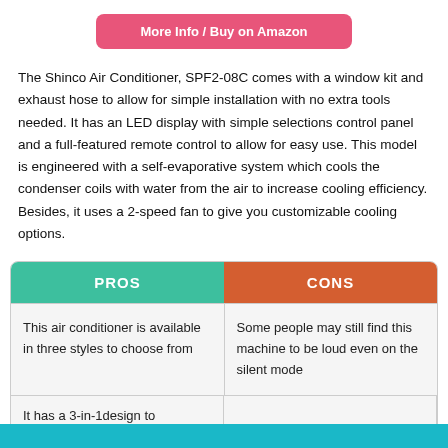[Figure (other): Pink/red button labeled 'More Info / Buy on Amazon']
The Shinco Air Conditioner, SPF2-08C comes with a window kit and exhaust hose to allow for simple installation with no extra tools needed. It has an LED display with simple selections control panel and a full-featured remote control to allow for easy use. This model is engineered with a self-evaporative system which cools the condenser coils with water from the air to increase cooling efficiency. Besides, it uses a 2-speed fan to give you customizable cooling options.
| PROS | CONS |
| --- | --- |
| This air conditioner is available in three styles to choose from | Some people may still find this machine to be loud even on the silent mode |
| It has a 3-in-1design to |  |